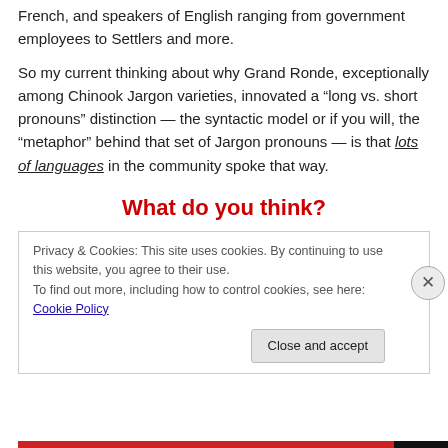French, and speakers of English ranging from government employees to Settlers and more.
So my current thinking about why Grand Ronde, exceptionally among Chinook Jargon varieties, innovated a “long vs. short pronouns” distinction — the syntactic model or if you will, the “metaphor” behind that set of Jargon pronouns — is that lots of languages in the community spoke that way.
What do you think?
Privacy & Cookies: This site uses cookies. By continuing to use this website, you agree to their use.
To find out more, including how to control cookies, see here: Cookie Policy